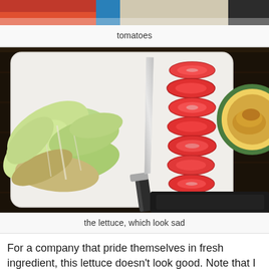[Figure (photo): Top portion of a food photo showing tomatoes and a blue item, cropped at top]
tomatoes
[Figure (photo): A white cutting board on a dark wooden surface with wilted/sad lettuce leaves on the left, a knife in the middle, and sliced tomatoes on the right. A plate with food is partially visible on the far right.]
the lettuce, which look sad
For a company that pride themselves in fresh ingredient, this lettuce doesn't look good. Note that I made this dish 2 days after it arrived (they say their ingredients can last up to 5 days) and when they arrived I immediately stored them in my fridge. But all in all, I'm not privy enough to not eat the